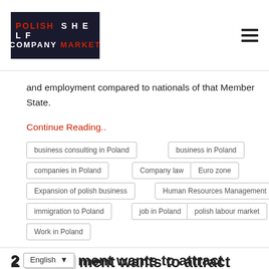POLISH SHELF COMPANY MARKET
and employment compared to nationals of that Member State.
Continue Reading..
business consulting in Poland
business in Poland
companies in Poland
Company law
Euro zone
Expansion of polish business
Human Resources Management
immigration to Poland
job in Poland
polish labour market
Work in Poland
2 AUG ...ment wants to attract ...